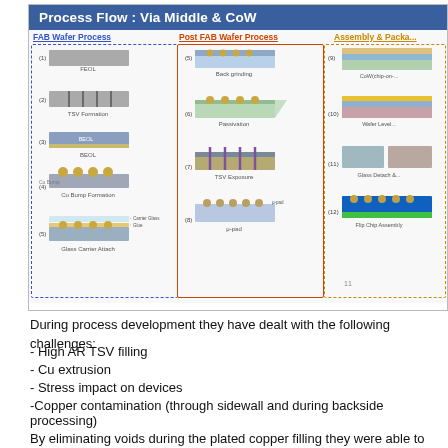[Figure (schematic): Process Flow diagram titled 'Process Flow : Via Middle & CoW' showing three columns: FAB Wafer Process (steps 1-5: FEOL, TSV Formation, BEOL, Cu Bump Formation, Glass Carrier Attach), Post FAB Wafer Process (steps 5-8: Back grinding, Passivation, TSV Exposure, μ-pad), and Assembly & Packaging (steps 9-12: CoW chip-on-wafer, Wafer Level..., Glass Detach &..., Flip Chip Assembly). Each step shows a cross-section diagram of the semiconductor process.]
During process development they have dealt with the following challenges:
- High AR TSV filling
- Cu extrusion
- Stress impact on devices
-Copper contamination (through sidewall and during backside processing)
By eliminating voids during the plated copper filling they were able to achieve 99.5